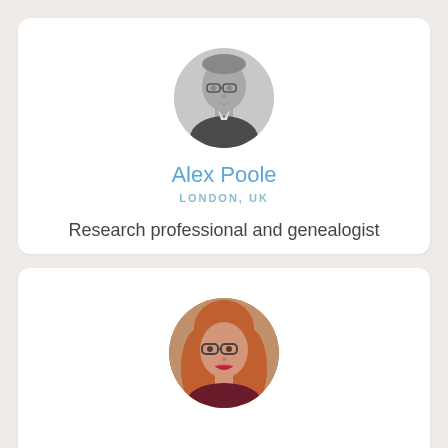[Figure (photo): Circular profile photo of a middle-aged man with glasses, in grayscale, wearing a dark jacket]
Alex Poole
LONDON, UK
Research professional and genealogist
[Figure (photo): Circular profile photo of a woman with auburn/red hair and glasses, in color]